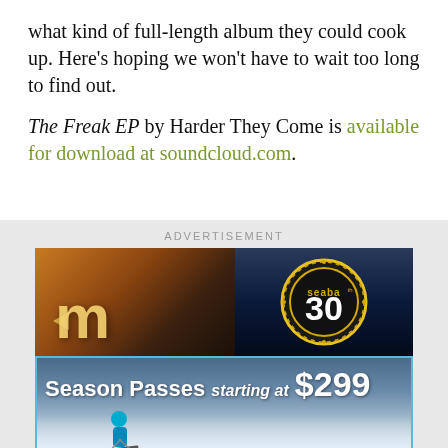what kind of full-length album they could cook up. Here's hoping we won't have to wait too long to find out.
The Freak EP by Harder They Come is available for download at soundcloud.com.
ADVERTISEMENT
[Figure (photo): Advertisement banner showing two images side by side: left shows a glowing neon 'm' sign on a building at night, right shows a SEABA 30th anniversary badge/logo over a night sky with trees.]
[Figure (photo): Advertisement for Season Passes starting at $299, showing a skier on a snowy slope with blue sky.]